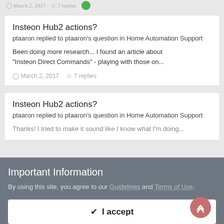March 2, 2017  7 replies
Insteon Hub2 actions?
ptaaron replied to ptaaron's question in Home Automation Support
Been doing more research... I found an article about "Insteon Direct Commands" - playing with those on...
March 2, 2017  7 replies
Insteon Hub2 actions?
ptaaron replied to ptaaron's question in Home Automation Support
Thanks! I tried to make it sound like I know what I'm doing...
Important Information
By using this site, you agree to our Guidelines and Terms of Use.
✔  I accept